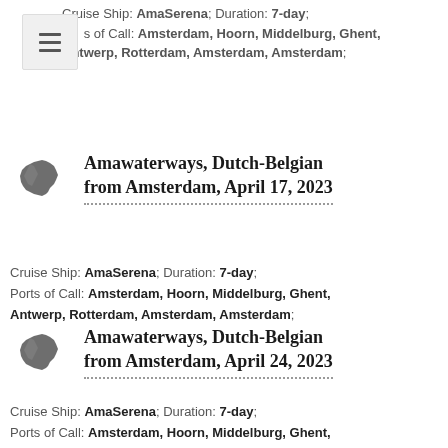Cruise Ship: AmaSerena; Duration: 7-day; Ports of Call: Amsterdam, Hoorn, Middelburg, Ghent, Antwerp, Rotterdam, Amsterdam, Amsterdam;
Amawaterways, Dutch-Belgian from Amsterdam, April 17, 2023
Cruise Ship: AmaSerena; Duration: 7-day; Ports of Call: Amsterdam, Hoorn, Middelburg, Ghent, Antwerp, Rotterdam, Amsterdam, Amsterdam;
Amawaterways, Dutch-Belgian from Amsterdam, April 24, 2023
Cruise Ship: AmaSerena; Duration: 7-day; Ports of Call: Amsterdam, Hoorn, Middelburg, Ghent, Antwerp, Rotterdam, Amsterdam, Amsterdam;